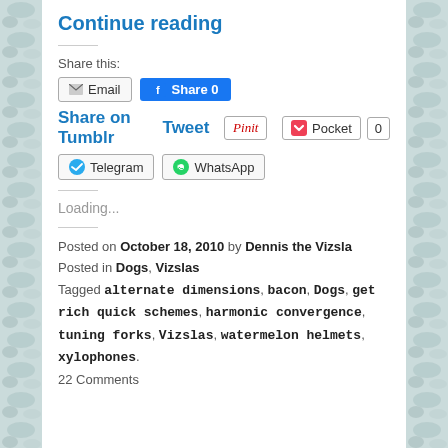Continue reading
Share this:
[Figure (other): Social share buttons: Email, Facebook Share 0, Share on Tumblr, Tweet, Pinit, Pocket 0, Telegram, WhatsApp]
Loading...
Posted on October 18, 2010 by Dennis the Vizsla
Posted in Dogs, Vizslas
Tagged alternate dimensions, bacon, Dogs, get rich quick schemes, harmonic convergence, tuning forks, Vizslas, watermelon helmets, xylophones.
22 Comments